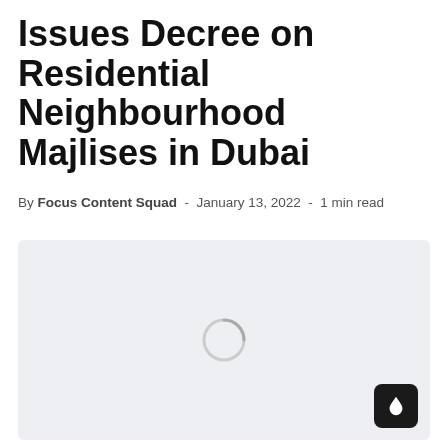Issues Decree on Residential Neighbourhood Majlises in Dubai
By Focus Content Squad - January 13, 2022 - 1 min read
[Figure (photo): Loading placeholder image with light grey background and a spinner/loader circle icon in the center]